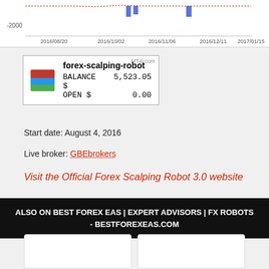[Figure (continuous-plot): Partial view of a trading chart showing drawdown/balance line with blue bars near zero and a -2000 axis label, x-axis dates from 2016/08/20 to 2017/01/15]
[Figure (infographic): MetaTrader account card for forex-scalping-robot showing BALANCE $ 5,523.05 and OPEN $ 0.00 with MT4 logo icon]
Start date: August 4, 2016
Live broker: GBEbrokers
Visit the Official Forex Scalping Robot 3.0 website
ALSO ON BEST FOREX EAS | EXPERT ADVISORS | FX ROBOTS - BESTFOREXEAS.COM